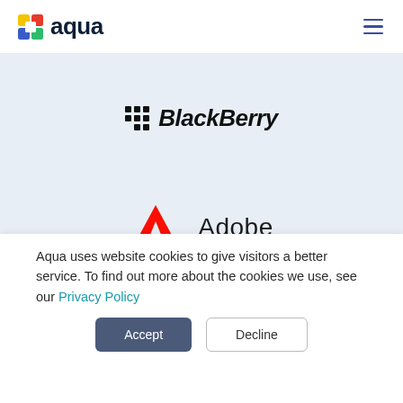aqua
[Figure (logo): BlackBerry logo with grid of dots and italic bold text 'BlackBerry']
[Figure (logo): Adobe logo with red triangle 'A' icon and 'Adobe' text]
Aqua uses website cookies to give visitors a better service. To find out more about the cookies we use, see our Privacy Policy
Accept
Decline